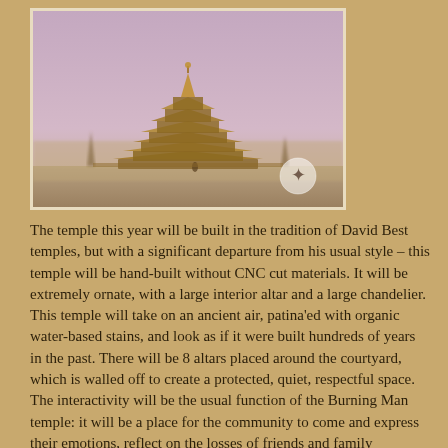[Figure (photo): A large ornate multi-tiered temple structure resembling an East Asian pagoda, photographed in a dusty/hazy pink-purple atmosphere at Burning Man. A small human figure is visible at the base. A circular logo/watermark is visible in the lower right of the image.]
The temple this year will be built in the tradition of David Best temples, but with a significant departure from his usual style – this temple will be hand-built without CNC cut materials. It will be extremely ornate, with a large interior altar and a large chandelier. This temple will take on an ancient air, patina'ed with organic water-based stains, and look as if it were built hundreds of years in the past. There will be 8 altars placed around the courtyard, which is walled off to create a protected, quiet, respectful space. The interactivity will be the usual function of the Burning Man temple: it will be a place for the community to come and express their emotions, reflect on the losses of friends and family members, and celebrate the lives of people around them. The temple will be built with the consideration of the